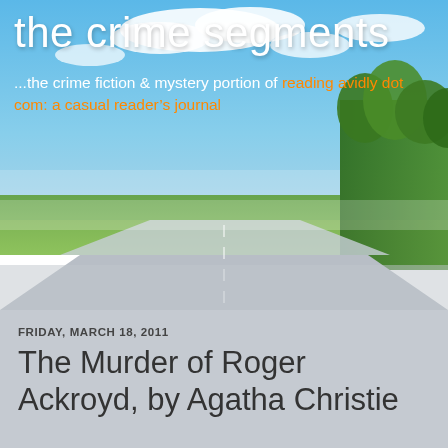[Figure (photo): Blog header image showing a scenic road with blue sky, clouds, and green trees on the right side, fading to a gray road surface at the bottom.]
the crime segments
...the crime fiction & mystery portion of reading avidly dot com: a casual reader’s journal
FRIDAY, MARCH 18, 2011
The Murder of Roger Ackroyd, by Agatha Christie